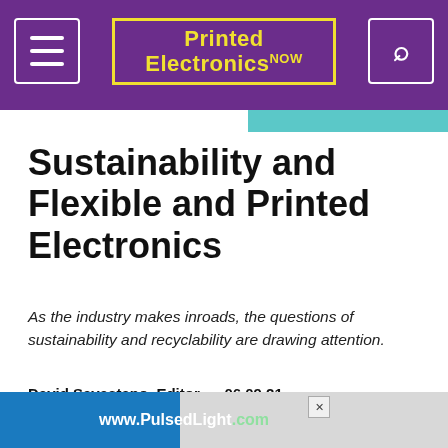Printed Electronics NOW
Sustainability and Flexible and Printed Electronics
As the industry makes inroads, the questions of sustainability and recyclability are drawing attention.
David Savastano, Editor • 06.09.21
BREAKING NEWS | FLEXIBLE AND PRINTED ELECTRONICS | RESEARCH INSTITUTIONS
[Figure (photo): Video thumbnail showing a person smiling, partial view]
[Figure (screenshot): Bottom advertisement banner showing www.PulsedLight.com]